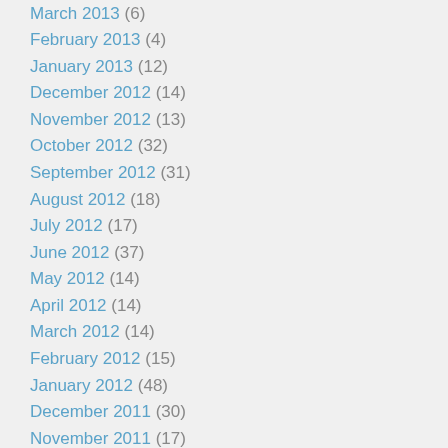March 2013 (6)
February 2013 (4)
January 2013 (12)
December 2012 (14)
November 2012 (13)
October 2012 (32)
September 2012 (31)
August 2012 (18)
July 2012 (17)
June 2012 (37)
May 2012 (14)
April 2012 (14)
March 2012 (14)
February 2012 (15)
January 2012 (48)
December 2011 (30)
November 2011 (17)
October 2011 (24)
September 2011 (26)
August 2011 (25)
July 2011 (19)
June 2011 (36)
May 2011 (4)